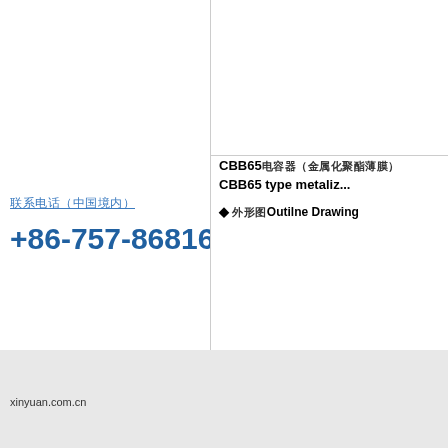联系电话（中国境内）
+86-757-86816518
CBB65电容器（金属化聚酯薄膜） CBB65 type metalized
外形图 Outilne Drawing
特征 Characteristic
自愈性能好
体积小
损耗低
产品介绍 The product intro
本产品广泛应用于各种电子电路和电气设备中
xinyuan.com.cn